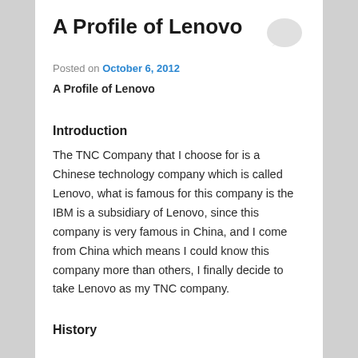A Profile of Lenovo
Posted on October 6, 2012
A Profile of Lenovo
Introduction
The TNC Company that I choose for is a Chinese technology company which is called Lenovo, what is famous for this company is the IBM is a subsidiary of Lenovo, since this company is very famous in China, and I come from China which means I could know this company more than others, I finally decide to take Lenovo as my TNC company.
History